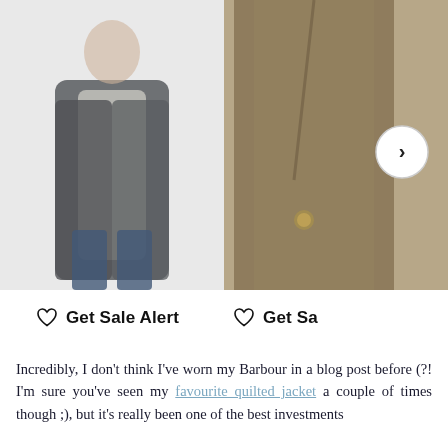[Figure (photo): Two product photos side by side: left shows a woman wearing a dark navy/black waxed Barbour jacket against a light grey background; right shows a close-up of an olive/khaki waxed jacket, partially cropped, with a right-arrow navigation button overlaid.]
♡  Get Sale Alert       ♡  Get Sa
Incredibly, I don't think I've worn my Barbour in a blog post before (?! I'm sure you've seen my favourite quilted jacket a couple of times though ;), but it's really been one of the best investments